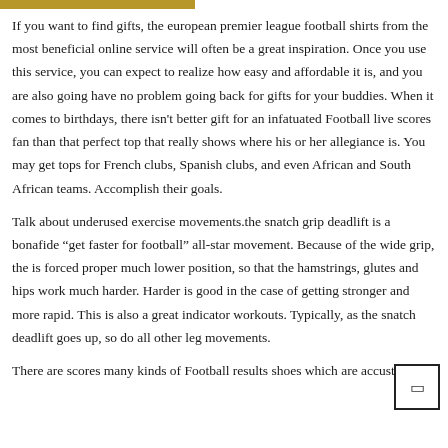[Figure (other): Gold/tan horizontal bar at top of page]
If you want to find gifts, the european premier league football shirts from the most beneficial online service will often be a great inspiration. Once you use this service, you can expect to realize how easy and affordable it is, and you are also going have no problem going back for gifts for your buddies. When it comes to birthdays, there isn't better gift for an infatuated Football live scores fan than that perfect top that really shows where his or her allegiance is. You may get tops for French clubs, Spanish clubs, and even African and South African teams. Accomplish their goals.
Talk about underused exercise movements.the snatch grip deadlift is a bonafide “get faster for football” all-star movement. Because of the wide grip, the is forced proper much lower position, so that the hamstrings, glutes and hips work much harder. Harder is good in the case of getting stronger and more rapid. This is also a great indicator workouts. Typically, as the snatch deadlift goes up, so do all other leg movements.
There are scores many kinds of Football results shoes which are accustomed